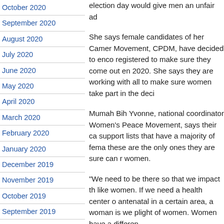October 2020
September 2020
August 2020
July 2020
June 2020
May 2020
April 2020
March 2020
February 2020
January 2020
December 2019
November 2019
October 2019
September 2019
August 2019
election day would give men an unfair ad
She says female candidates of her Camer Movement, CPDM, have decided to enco registered to make sure they come out en 2020. She says they are working with all to make sure women take part in the deci
Mumah Bih Yvonne, national coordinator Women’s Peace Movement, says their ca support lists that have a majority of fema these are the only ones they are sure can  women.
“We need to be there so that we impact th like women. If we need a health center o antenatal in a certain area, a woman is we plight of women. Women have a differen